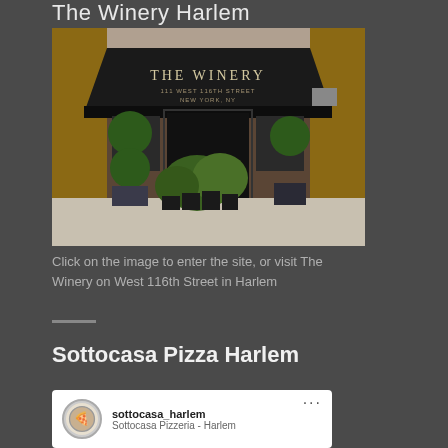The Winery Harlem
[Figure (photo): Exterior photo of The Winery Harlem restaurant showing black awning with 'THE WINERY' text, potted topiary plants and green plants arranged at the entrance, brick building facade]
Click on the image to enter the site, or visit The Winery on West 116th Street in Harlem
Sottocasa Pizza Harlem
[Figure (screenshot): Instagram card showing sottocasa_harlem profile with Sottocasa Pizzeria - Harlem subtitle]